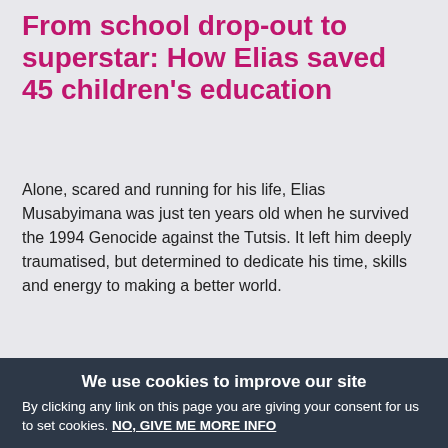From school drop-out to superstar: How Elias saved 45 children's education
Alone, scared and running for his life, Elias Musabyimana was just ten years old when he survived the 1994 Genocide against the Tutsis. It left him deeply traumatised, but determined to dedicate his time, skills and energy to making a better world.
[Figure (photo): A man in a blue t-shirt standing in a simple brick classroom, appearing to teach. A child is visible in the foreground, and another person is seated to the right near a window.]
We use cookies to improve our site
By clicking any link on this page you are giving your consent for us to set cookies. NO, GIVE ME MORE INFO